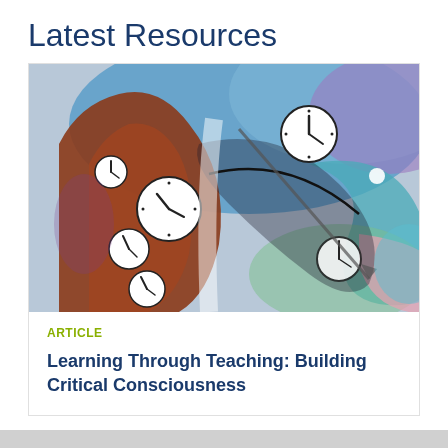Latest Resources
[Figure (illustration): Abstract colorful painting showing a human face profile with multiple clock faces embedded in swirling blue, red, brown, and teal paint strokes]
ARTICLE
Learning Through Teaching: Building Critical Consciousness